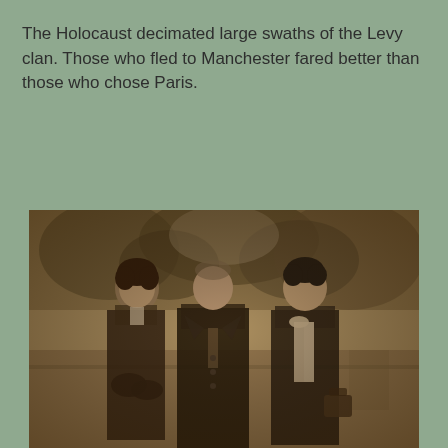The Holocaust decimated large swaths of the Levy clan. Those who fled to Manchester fared better than those who chose Paris.
[Figure (photo): A sepia-toned vintage photograph showing three people standing outdoors — a woman on the left with dark hair wearing a dark coat, an older man in the center wearing a dark double-breasted coat and tie, and a woman on the right wearing a dark coat with a light-colored scarf/bow, holding a handbag. Trees and foliage visible in the background.]